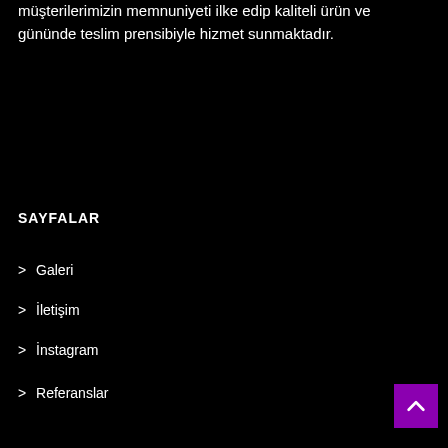müşterilerimizin memnuniyeti ilke edip kaliteli ürün ve gününde teslim prensibiyle hizmet sunmaktadır.
SAYFALAR
> Galeri
> İletişim
> İnstagram
> Referanslar